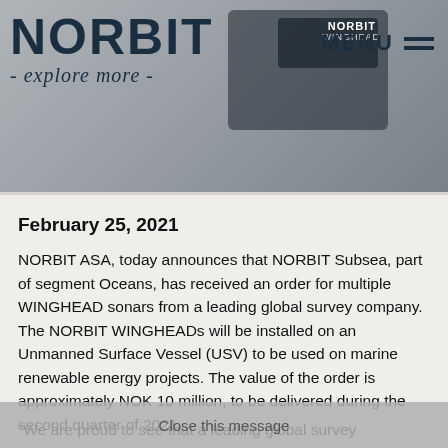[Figure (photo): Header banner showing NORBIT logo with tagline 'explore more', MENU with hamburger icon on the right, and a background image of NORBIT WINGHEAD hardware equipment on a dark surface.]
February 25, 2021
NORBIT ASA, today announces that NORBIT Subsea, part of segment Oceans, has received an order for multiple WINGHEAD sonars from a leading global survey company. The NORBIT WINGHEADs will be installed on an Unmanned Surface Vessel (USV) to be used on marine renewable energy projects. The value of the order is approximately NOK 10 million, to be delivered during the second quarter of 2021.
“We are proud to see that a leading global survey